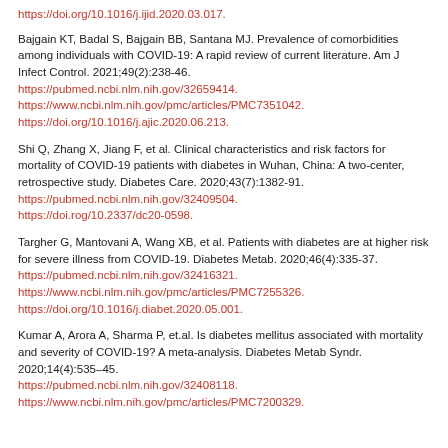https://doi.org/10.1016/j.ijid.2020.03.017.
Bajgain KT, Badal S, Bajgain BB, Santana MJ. Prevalence of comorbidities among individuals with COVID-19: A rapid review of current literature. Am J Infect Control. 2021;49(2):238-46. https://pubmed.ncbi.nlm.nih.gov/32659414. https://www.ncbi.nlm.nih.gov/pmc/articles/PMC7351042. https://doi.org/10.1016/j.ajic.2020.06.213.
Shi Q, Zhang X, Jiang F, et al. Clinical characteristics and risk factors for mortality of COVID-19 patients with diabetes in Wuhan, China: A two-center, retrospective study. Diabetes Care. 2020;43(7):1382-91. https://pubmed.ncbi.nlm.nih.gov/32409504. https://doi.rog/10.2337/dc20-0598.
Targher G, Mantovani A, Wang XB, et al. Patients with diabetes are at higher risk for severe illness from COVID-19. Diabetes Metab. 2020;46(4):335-37. https://pubmed.ncbi.nlm.nih.gov/32416321. https://www.ncbi.nlm.nih.gov/pmc/articles/PMC7255326. https://doi.org/10.1016/j.diabet.2020.05.001.
Kumar A, Arora A, Sharma P, et.al. Is diabetes mellitus associated with mortality and severity of COVID-19? A meta-analysis. Diabetes Metab Syndr. 2020;14(4):535–45. https://pubmed.ncbi.nlm.nih.gov/32408118. https://www.ncbi.nlm.nih.gov/pmc/articles/PMC7200329.